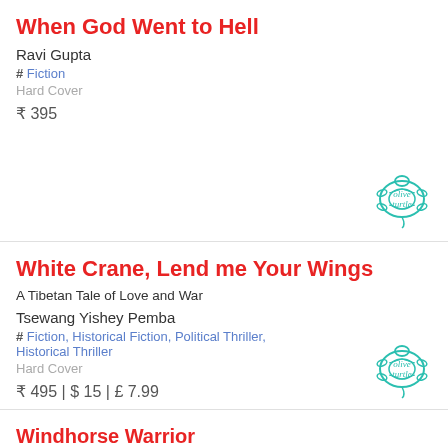When God Went to Hell
Ravi Gupta
# Fiction
Hard Cover
₹ 395
[Figure (logo): Olive Turtle publisher logo - teal turtle illustration with 'olive turtle' text]
White Crane, Lend me Your Wings
A Tibetan Tale of Love and War
Tsewang Yishey Pemba
# Fiction, Historical Fiction, Political Thriller, Historical Thriller
Hard Cover
₹ 495 | $ 15 | £ 7.99
[Figure (logo): Olive Turtle publisher logo - teal turtle illustration with 'olive turtle' text]
Windhorse Warrior